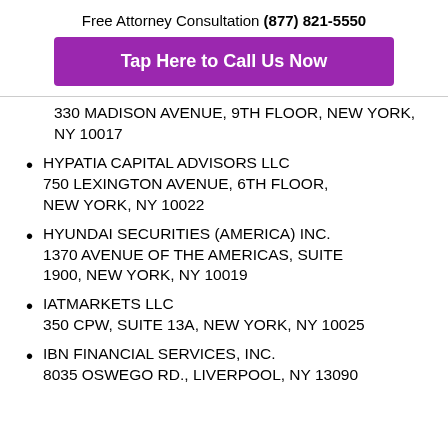Free Attorney Consultation (877) 821-5550
Tap Here to Call Us Now
330 MADISON AVENUE, 9TH FLOOR, NEW YORK, NY 10017
HYPATIA CAPITAL ADVISORS LLC
750 LEXINGTON AVENUE, 6TH FLOOR, NEW YORK, NY 10022
HYUNDAI SECURITIES (AMERICA) INC.
1370 AVENUE OF THE AMERICAS, SUITE 1900, NEW YORK, NY 10019
IATMARKETS LLC
350 CPW, SUITE 13A, NEW YORK, NY 10025
IBN FINANCIAL SERVICES, INC.
8035 OSWEGO RD., LIVERPOOL, NY 13090